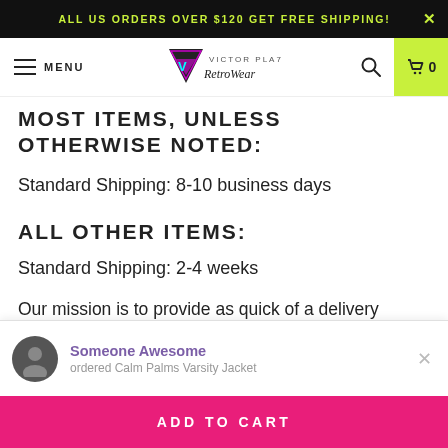ALL US ORDERS OVER $120 GET FREE SHIPPING!
[Figure (logo): Victor Plazma RetroWear logo with neon triangle and script text]
MOST ITEMS, UNLESS OTHERWISE NOTED:
Standard Shipping: 8-10 business days
ALL OTHER ITEMS:
Standard Shipping: 2-4 weeks
Our mission is to provide as quick of a delivery window as possible, but the final delivery time will depend on the final shipping destination and the location of the warehouse from which
Someone Awesome
ordered Calm Palms Varsity Jacket
ADD TO CART